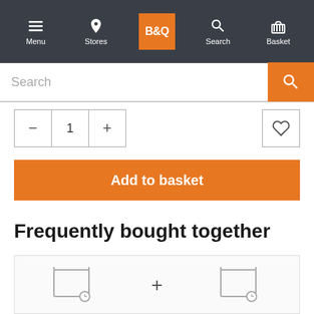Menu | Stores | B&Q | Search | Basket
Search
1
Add to basket
Frequently bought together
This item: Rose Granular plant feed Granules